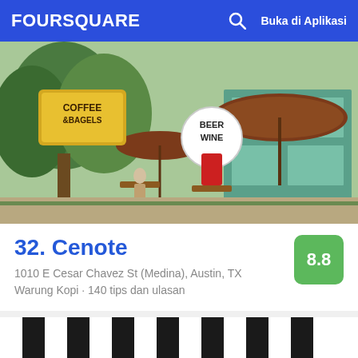FOURSQUARE   Buka di Aplikasi
[Figure (photo): Outdoor cafe/restaurant scene with Coffee & Bagels sign, Beer Wine sign, brown umbrellas, trees, and teal/green building]
32. Cenote
8.8
1010 E Cesar Chavez St (Medina), Austin, TX
Warung Kopi · 140 tips dan ulasan
[Figure (photo): Building exterior with black and white striped awning at top, glass storefront facade with city reflections, dark interior visible]